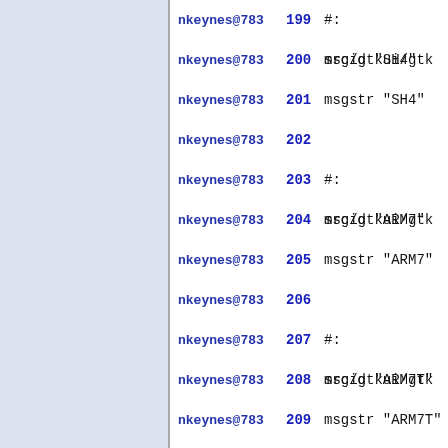nkeynes@783  199 #: src/gtkui/gtk...
nkeynes@783  200 msgid "SH4"
nkeynes@783  201 msgstr "SH4"
nkeynes@783  202
nkeynes@783  203 #: src/gtkui/gtk...
nkeynes@783  204 msgid "ARM7"
nkeynes@783  205 msgstr "ARM7"
nkeynes@783  206
nkeynes@783  207 #: src/gtkui/gtk...
nkeynes@783  208 msgid "ARM7T"
nkeynes@783  209 msgstr "ARM7T"